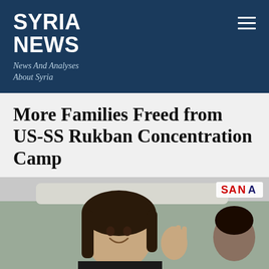SYRIA NEWS
News And Analyses About Syria
More Families Freed from US-SS Rukban Concentration Camp
[Figure (photo): A smiling child waving from inside a vehicle, with SANA watermark in upper right corner]
Social share bar: Twitter, Facebook, Email, WhatsApp, SMS, Share